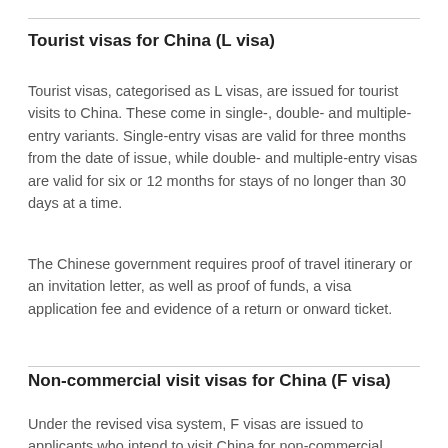Tourist visas for China (L visa)
Tourist visas, categorised as L visas, are issued for tourist visits to China. These come in single-, double- and multiple-entry variants. Single-entry visas are valid for three months from the date of issue, while double- and multiple-entry visas are valid for six or 12 months for stays of no longer than 30 days at a time.
The Chinese government requires proof of travel itinerary or an invitation letter, as well as proof of funds, a visa application fee and evidence of a return or onward ticket.
Non-commercial visit visas for China (F visa)
Under the revised visa system, F visas are issued to applicants who intend to visit China for non-commercial purposes such as conferences, cultural exchanges and study tours. Single-entry F visas are usually valid for 30